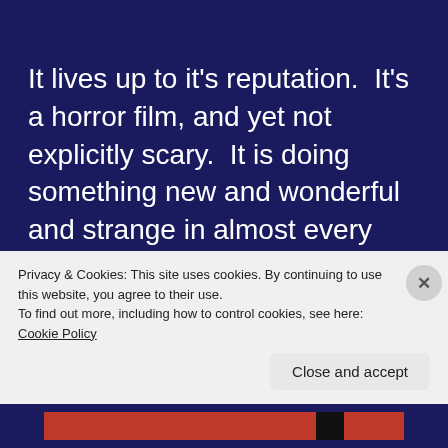It lives up to it's reputation.  It's a horror film, and yet not explicitly scary.  It is doing something new and wonderful and strange in almost every shot.  It has an intense energy I have seen almost no where else.  I don't even want to say anything about it, outside of how much you must see it.  You
Privacy & Cookies: This site uses cookies. By continuing to use this website, you agree to their use.
To find out more, including how to control cookies, see here: Cookie Policy
Close and accept